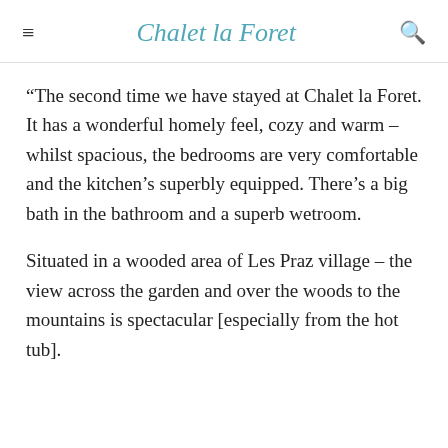Chalet la Foret
“The second time we have stayed at Chalet la Foret. It has a wonderful homely feel, cozy and warm – whilst spacious, the bedrooms are very comfortable and the kitchen’s superbly equipped. There’s a big bath in the bathroom and a superb wetroom.
Situated in a wooded area of Les Praz village – the view across the garden and over the woods to the mountains is spectacular [especially from the hot tub].